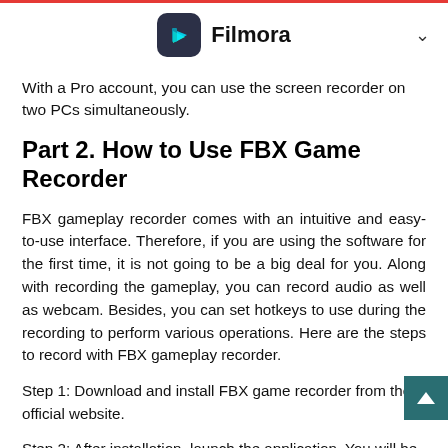Filmora
With a Pro account, you can use the screen recorder on two PCs simultaneously.
Part 2. How to Use FBX Game Recorder
FBX gameplay recorder comes with an intuitive and easy-to-use interface. Therefore, if you are using the software for the first time, it is not going to be a big deal for you. Along with recording the gameplay, you can record audio as well as webcam. Besides, you can set hotkeys to use during the recording to perform various operations. Here are the steps to record with FBX gameplay recorder.
Step 1: Download and install FBX game recorder from the official website.
Step 2: After installation, launch the application. You will be asked to create an account. You can either create a Pro